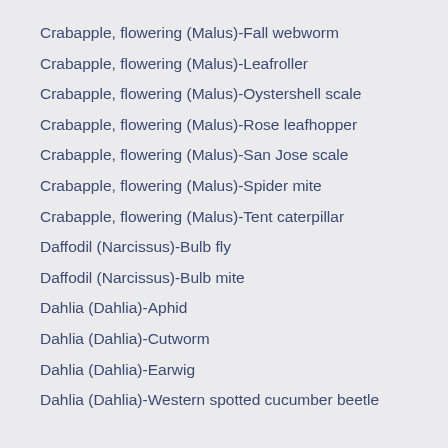Crabapple, flowering (Malus)-Fall webworm
Crabapple, flowering (Malus)-Leafroller
Crabapple, flowering (Malus)-Oystershell scale
Crabapple, flowering (Malus)-Rose leafhopper
Crabapple, flowering (Malus)-San Jose scale
Crabapple, flowering (Malus)-Spider mite
Crabapple, flowering (Malus)-Tent caterpillar
Daffodil (Narcissus)-Bulb fly
Daffodil (Narcissus)-Bulb mite
Dahlia (Dahlia)-Aphid
Dahlia (Dahlia)-Cutworm
Dahlia (Dahlia)-Earwig
Dahlia (Dahlia)-Western spotted cucumber beetle